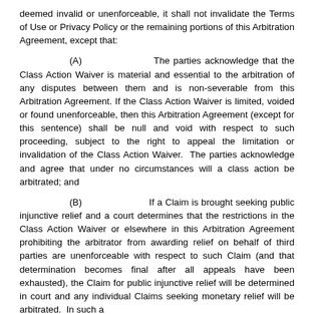deemed invalid or unenforceable, it shall not invalidate the Terms of Use or Privacy Policy or the remaining portions of this Arbitration Agreement, except that:
(A)      The parties acknowledge that the Class Action Waiver is material and essential to the arbitration of any disputes between them and is non-severable from this Arbitration Agreement. If the Class Action Waiver is limited, voided or found unenforceable, then this Arbitration Agreement (except for this sentence) shall be null and void with respect to such proceeding, subject to the right to appeal the limitation or invalidation of the Class Action Waiver.  The parties acknowledge and agree that under no circumstances will a class action be arbitrated; and
(B)      If a Claim is brought seeking public injunctive relief and a court determines that the restrictions in the Class Action Waiver or elsewhere in this Arbitration Agreement prohibiting the arbitrator from awarding relief on behalf of third parties are unenforceable with respect to such Claim (and that determination becomes final after all appeals have been exhausted), the Claim for public injunctive relief will be determined in court and any individual Claims seeking monetary relief will be arbitrated.  In such a